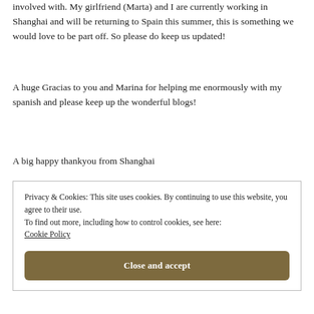involved with. My girlfriend (Marta) and I are currently working in Shanghai and will be returning to Spain this summer, this is something we would love to be part off. So please do keep us updated!
A huge Gracias to you and Marina for helping me enormously with my spanish and please keep up the wonderful blogs!
A big happy thankyou from Shanghai
Privacy & Cookies: This site uses cookies. By continuing to use this website, you agree to their use.
To find out more, including how to control cookies, see here: Cookie Policy
Close and accept